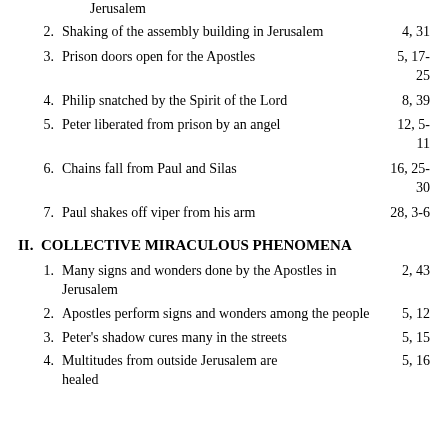Jerusalem
2. Shaking of the assembly building in Jerusalem — 4, 31
3. Prison doors open for the Apostles — 5, 17-25
4. Philip snatched by the Spirit of the Lord — 8, 39
5. Peter liberated from prison by an angel — 12, 5-11
6. Chains fall from Paul and Silas — 16, 25-30
7. Paul shakes off viper from his arm — 28, 3-6
II. COLLECTIVE MIRACULOUS PHENOMENA
1. Many signs and wonders done by the Apostles in Jerusalem — 2, 43
2. Apostles perform signs and wonders among the people — 5, 12
3. Peter's shadow cures many in the streets — 5, 15
4. Multitudes from outside Jerusalem are healed — 5, 16